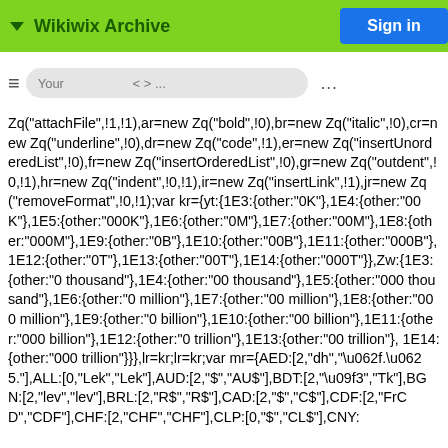Wikiwix Archive
Zq("attachFile",!1,!1),ar=new Zq("bold",!0),br=new Zq("italic",!0),cr=new Zq("underline",!0),dr=new Zq("code",!1),er=new Zq("insertUnorderedList",!0),fr=new Zq("insertOrderedList",!0),gr=new Zq("outdent",!0,!1),hr=new Zq("indent",!0,!1),ir=new Zq("insertLink",!1),jr=new Zq("removeFormat",!0,!1);var kr={yt:{1E3:{other:"0K"},1E4:{other:"00K"},1E5:{other:"000K"},1E6:{other:"0M"},1E7:{other:"00M"},1E8:{other:"000M"},1E9:{other:"0B"},1E10:{other:"00B"},1E11:{other:"000B"},1E12:{other:"0T"},1E13:{other:"00T"},1E14:{other:"000T"}},Zw:{1E3:{other:"0 thousand"},1E4:{other:"00 thousand"},1E5:{other:"000 thousand"},1E6:{other:"0 million"},1E7:{other:"00 million"},1E8:{other:"000 million"},1E9:{other:"0 billion"},1E10:{other:"00 billion"},1E11:{other:"000 billion"},1E12:{other:"0 trillion"},1E13:{other:"00 trillion"}, 1E14:{other:"000 trillion"}}},lr=kr;lr=kr;var mr={AED:[2,"dh","\u062f.\u0625."],ALL:[0,"Lek","Lek"],AUD:[2,"$","AU$"],BDT:[2,"\u09f3","Tk"],BGN:[2,"lev","lev"],BRL:[2,"R$","R$"],CAD:[2,"$","C$"],CDF:[2,"FrCD","CDF"],CHF:[2,"CHF","CHF"],CLP:[0,"$","CL$"],CNY: